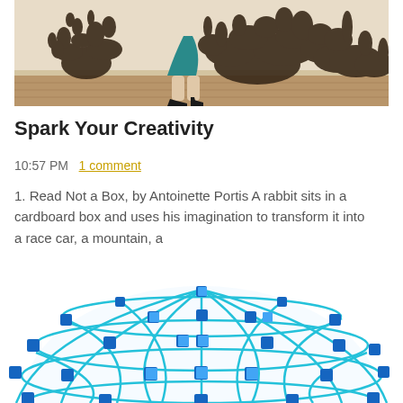[Figure (photo): Partial view of a person in a teal dress and black heels standing near a decorative dark fractal-like wall art installation on a wooden floor.]
Spark Your Creativity
10:57 PM  1 comment
1. Read Not a Box, by Antoinette Portis A rabbit sits in a cardboard box and uses his imagination to transform it into a race car, a mountain, a
[Figure (photo): A blue geodesic sphere sculpture made of blue squares connected by blue and teal rods, partially cropped showing the lower hemisphere.]